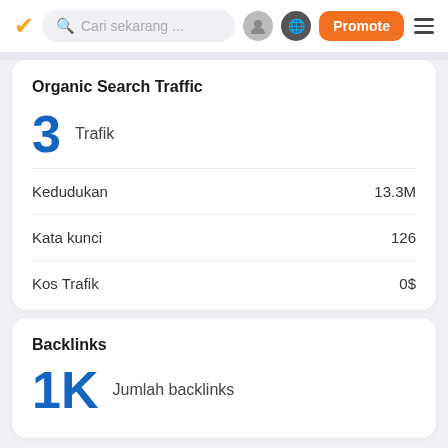Cari sekarang ... Promote
Organic Search Traffic
3  Trafik
Kedudukan  13.3M
Kata kunci  126
Kos Trafik  0$
Backlinks
1K  Jumlah backlinks